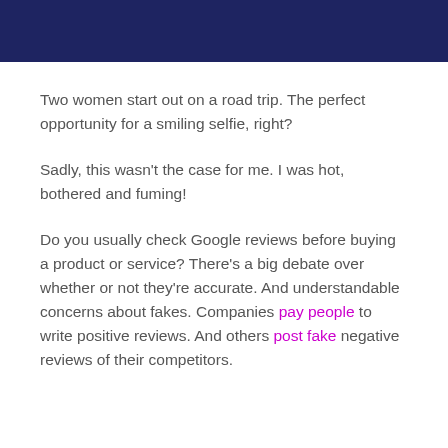Two women start out on a road trip. The perfect opportunity for a smiling selfie, right?
Sadly, this wasn't the case for me. I was hot, bothered and fuming!
Do you usually check Google reviews before buying a product or service? There's a big debate over whether or not they're accurate. And understandable concerns about fakes. Companies pay people to write positive reviews. And others post fake negative reviews of their competitors.